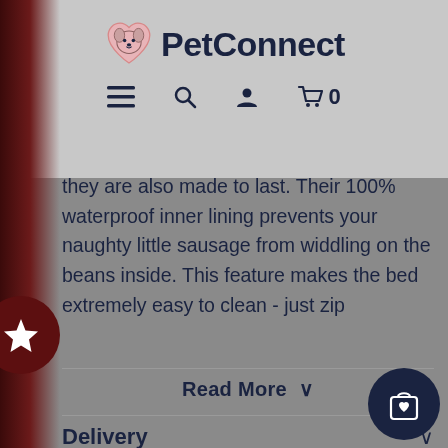PetConnect
they are also made to last. Their 100% waterproof inner lining prevents your naughty little sausage from widdling on the beans inside. This feature makes the bed extremely easy to clean - just zip
Read More ∨
Delivery
Price Pledge